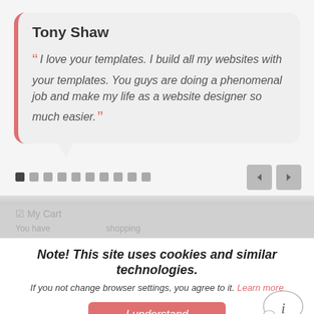Tony Shaw
“ I love your templates. I build all my websites with your templates. You guys are doing a phenomenal job and make my life as a website designer so much easier.”
[Figure (infographic): Testimonial slider with dot indicators and previous/next navigation arrows]
☑ My Cart
You have ... shopping
Note! This site uses cookies and similar technologies.
If you not change browser settings, you agree to it. Learn more
I understand